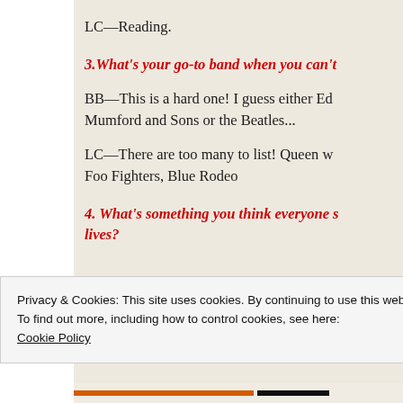LC—Reading.
3.What's your go-to band when you can't
BB—This is a hard one! I guess either Ed Mumford and Sons or the Beatles...
LC—There are too many to list! Queen we Foo Fighters, Blue Rodeo
4. What's something you think everyone s lives?
Privacy & Cookies: This site uses cookies. By continuing to use this website, you agree to their use.
To find out more, including how to control cookies, see here:
Cookie Policy
Close and accept